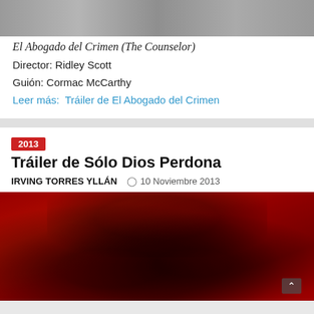[Figure (photo): Top portion of a movie photo, partially cropped at the top of the page.]
El Abogado del Crimen (The Counselor)
Director: Ridley Scott
Guión: Cormac McCarthy
Leer más:  Tráiler de El Abogado del Crimen
2013
Tráiler de Sólo Dios Perdona
IRVING TORRES YLLÁN   ⊙ 10 Noviembre 2013
[Figure (photo): Photo of two people fighting on a stage with a red and black decorative backdrop, from the movie Only God Forgives.]